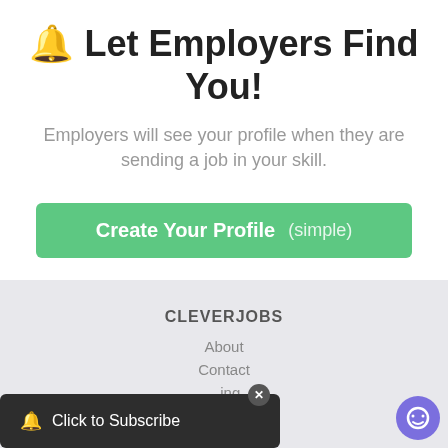🔔 Let Employers Find You!
Employers will see your profile when they are sending a job in your skill.
Create Your Profile  (simple)
CLEVERJOBS
About
Contact
...ing
...PI
🔔 Click to Subscribe
×